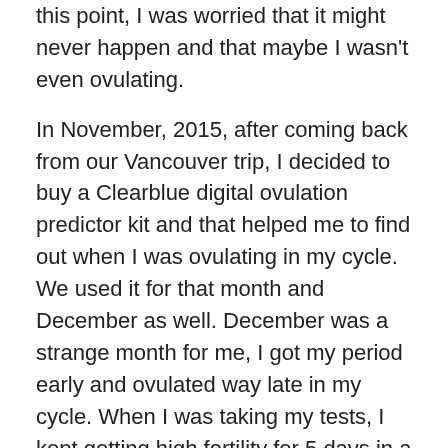this point, I was worried that it might never happen and that maybe I wasn't even ovulating.
In November, 2015, after coming back from our Vancouver trip, I decided to buy a Clearblue digital ovulation predictor kit and that helped me to find out when I was ovulating in my cycle. We used it for that month and December as well. December was a strange month for me, I got my period early and ovulated way late in my cycle. When I was taking my tests, I kept getting high fertility for 5 days in a row, with no peak. I was down to my last ovulation stick and on the 23rd of December I got my peak fertility reading. We conceived on Christmas eve, a wonderful gift and just what I wanted for Christmas! Surprisingly, it was also the last month of 2015.
So, here I am, nearly 5 weeks along, due to have our